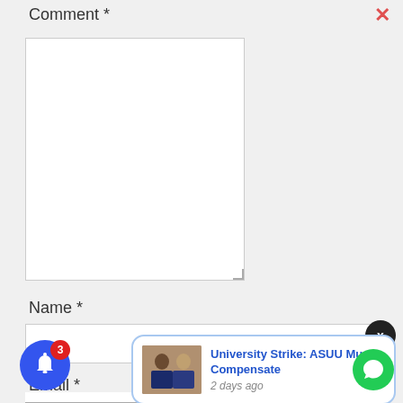Comment *
[Figure (screenshot): Empty comment textarea form field with resize handle]
Name *
[Figure (screenshot): Empty name text input field]
Email *
[Figure (screenshot): Empty email input field (partially visible)]
[Figure (screenshot): Black circular dismiss button with X]
[Figure (screenshot): Notification popup card with image and text: University Strike: ASUU Must Compensate, 2 days ago]
[Figure (screenshot): Blue bell notification button with red badge showing 3]
[Figure (screenshot): Green chat/WhatsApp circular button]